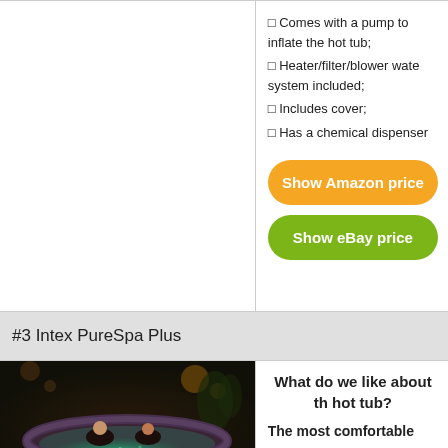□ Comes with a pump to inflate the hot tub;
□ Heater/filter/blower water system included;
□ Includes cover;
□ Has a chemical dispenser
Show Amazon price
Show eBay price
#3 Intex PureSpa Plus
[Figure (photo): Two people relaxing in an inflatable hot tub (Intex PureSpa Plus) outdoors at night with glowing green/blue lights]
What do we like about the hot tub?
The most comfortable
(hot tub includes 2 inflatable headrests allowing you to maximally